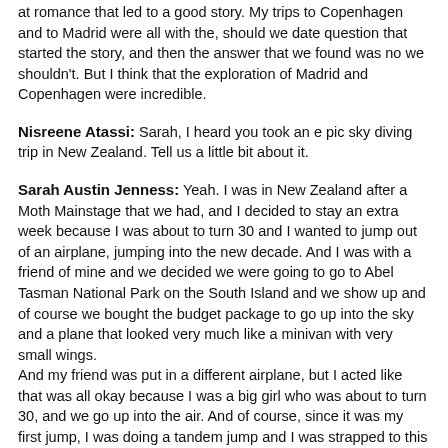at romance that led to a good story. My trips to Copenhagen and to Madrid were all with the, should we date question that started the story, and then the answer that we found was no we shouldn't. But I think that the exploration of Madrid and Copenhagen were incredible.
Nisreene Atassi: Sarah, I heard you took an e pic sky diving trip in New Zealand. Tell us a little bit about it.
Sarah Austin Jenness: Yeah. I was in New Zealand after a Moth Mainstage that we had, and I decided to stay an extra week because I was about to turn 30 and I wanted to jump out of an airplane, jumping into the new decade. And I was with a friend of mine and we decided we were going to go to Abel Tasman National Park on the South Island and we show up and of course we bought the budget package to go up into the sky and a plane that looked very much like a minivan with very small wings.
And my friend was put in a different airplane, but I acted like that was all okay because I was a big girl who was about to turn 30, and we go up into the air. And of course, since it was my first jump, I was doing a tandem jump and I was strapped to this guy. He was this older salty dog. I